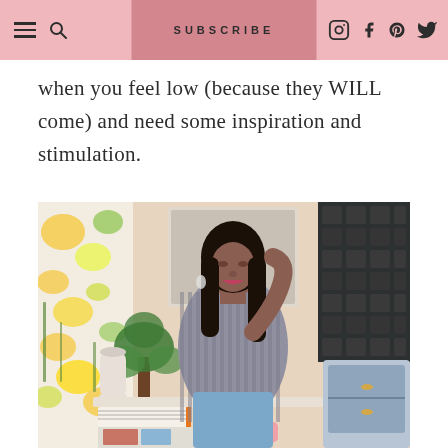≡  🔍   SUBSCRIBE   Instagram  Facebook  Pinterest  Twitter
when you feel low (because they WILL come) and need some inspiration and stimulation.
[Figure (photo): A woman with long dark hair, wearing a patterned shirt and blue jeans, sits on a pink chair at a white desk with books and notebooks, in a stylishly decorated room with floral curtains and a dark patterned wall panel.]